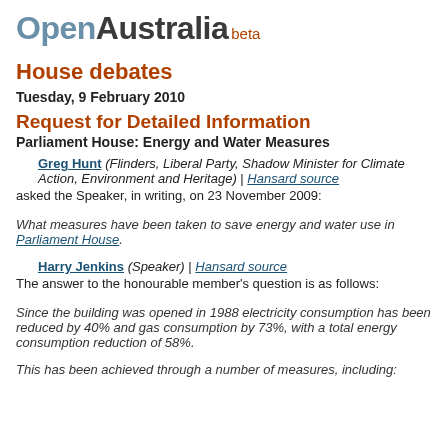[Figure (logo): OpenAustralia beta logo — 'Open' in steel blue bold, 'Australia' in dark bold, 'beta' in red-brown cursive superscript]
House debates
Tuesday, 9 February 2010
Request for Detailed Information
Parliament House: Energy and Water Measures
Greg Hunt (Flinders, Liberal Party, Shadow Minister for Climate Action, Environment and Heritage) | Hansard source
asked the Speaker, in writing, on 23 November 2009:
What measures have been taken to save energy and water use in Parliament House.
Harry Jenkins (Speaker) | Hansard source
The answer to the honourable member's question is as follows:
Since the building was opened in 1988 electricity consumption has been reduced by 40% and gas consumption by 73%, with a total energy consumption reduction of 58%.
This has been achieved through a number of measures, including: